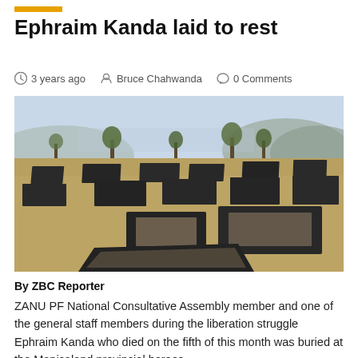Ephraim Kanda laid to rest
3 years ago   Bruce Chahwanda   0 Comments
[Figure (photo): Outdoor cemetery scene showing multiple flat dark granite grave slabs spread across dry grassland, with trees and hills/mountains visible in the background under a hazy sky.]
By ZBC Reporter
ZANU PF National Consultative Assembly member and one of the general staff members during the liberation struggle Ephraim Kanda who died on the fifth of this month was buried at the Manicaland provincial heroes